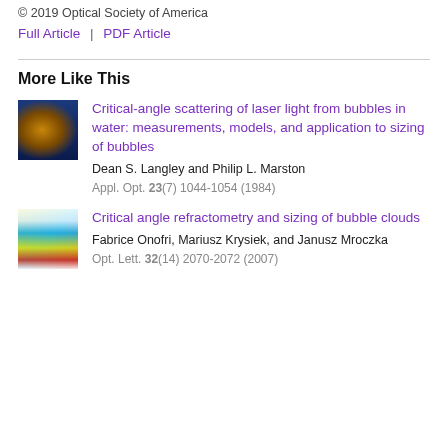© 2019 Optical Society of America
Full Article  |  PDF Article
More Like This
[Figure (photo): Thumbnail cover image of Applied Optics journal]
Critical-angle scattering of laser light from bubbles in water: measurements, models, and application to sizing of bubbles
Dean S. Langley and Philip L. Marston
Appl. Opt. 23(7) 1044-1054 (1984)
[Figure (photo): Thumbnail cover image of Optics Letters journal]
Critical angle refractometry and sizing of bubble clouds
Fabrice Onofri, Mariusz Krysiek, and Janusz Mroczka
Opt. Lett. 32(14) 2070-2072 (2007)